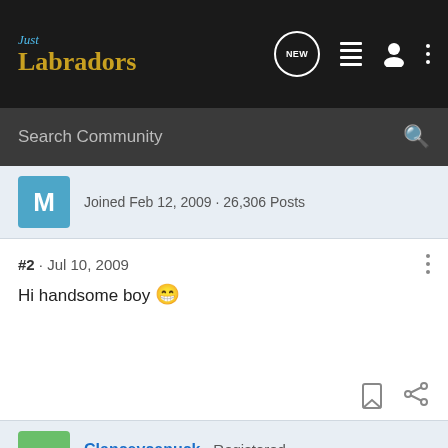[Figure (screenshot): Just Labradors forum navigation bar with logo and icons]
Search Community
Joined Feb 12, 2009 · 26,306 Posts
#2 · Jul 10, 2009
Hi handsome boy 😁
Clanceycanuck · Registered
Joined Feb 12, 2009 · 21,482 Posts